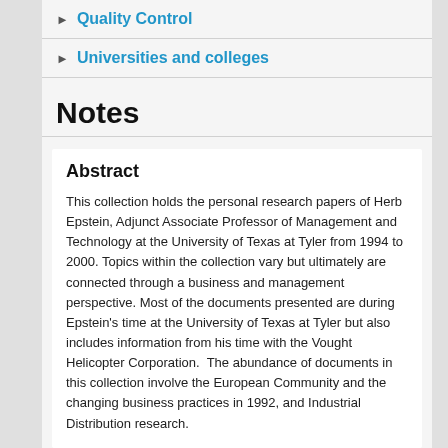Quality Control
Universities and colleges
Notes
Abstract
This collection holds the personal research papers of Herb Epstein, Adjunct Associate Professor of Management and Technology at the University of Texas at Tyler from 1994 to 2000. Topics within the collection vary but ultimately are connected through a business and management perspective. Most of the documents presented are during Epstein's time at the University of Texas at Tyler but also includes information from his time with the Vought Helicopter Corporation.  The abundance of documents in this collection involve the European Community and the changing business practices in 1992, and Industrial Distribution research.
Arrangement